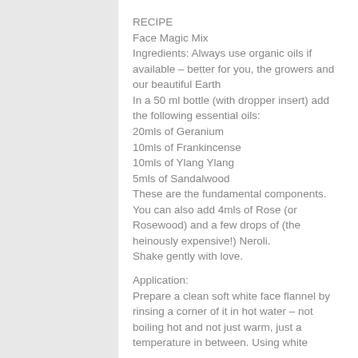RECIPE
Face Magic Mix
Ingredients: Always use organic oils if available – better for you, the growers and our beautiful Earth
In a 50 ml bottle (with dropper insert) add the following essential oils:
20mls of Geranium
10mls of Frankincense
10mls of Ylang Ylang
5mls of Sandalwood
These are the fundamental components. You can also add 4mls of Rose (or Rosewood) and a few drops of (the heinously expensive!) Neroli.
Shake gently with love.
Application:
Prepare a clean soft white face flannel by rinsing a corner of it in hot water – not boiling hot and not just warm, just a temperature in between. Using white